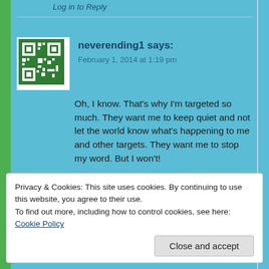Log in to Reply
neverending1 says:
February 1, 2014 at 1:19 pm
Oh, I know. That’s why I’m targeted so much. They want me to keep quiet and not let the world know what’s happening to me and other targets. They want me to stop my word. But I won’t!
👍 0 👎 0 ℹ Rate This
Log in to Reply
Privacy & Cookies: This site uses cookies. By continuing to use this website, you agree to their use.
To find out more, including how to control cookies, see here: Cookie Policy
Close and accept